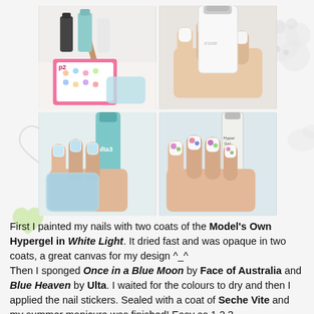[Figure (photo): Four-photo grid showing nail art steps: top-left shows nail supplies (nail sticker sheet, nail file, polish bottles); top-right shows hand holding a white nail polish bottle with white-painted nails; bottom-left shows hand with blue sponged nails next to Ulta polish bottle; bottom-right shows finished nails with floral stickers next to Model's Own Hypergel bottle.]
First I painted my nails with two coats of the Model's Own Hypergel in White Light. It dried fast and was opaque in two coats, a great canvas for my design ^_^
Then I sponged Once in a Blue Moon by Face of Australia and Blue Heaven by Ulta. I waited for the colours to dry and then I applied the nail stickers. Sealed with a coat of Seche Vite and my summer manicure was finished! Easy as 1 2 3.